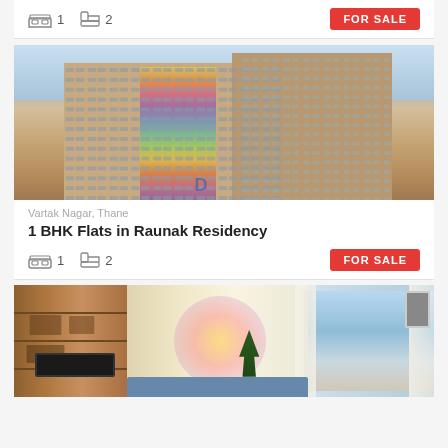[Figure (photo): Top card partial: bed icon showing 1, bath icon showing 2, FOR SALE red badge]
[Figure (photo): Tall modern residential building photographed from below, Raunak Residency, Vartak Nagar Thane]
Vartak Nagar, Thane
1 BHK Flats in Raunak Residency
[Figure (photo): Card 2 amenities row: bed icon 1, bath icon 2, FOR SALE badge]
[Figure (photo): Interior room photo showing a modern bedroom/living area with wood cabinets, TV, large windows with city view, sheer curtains]